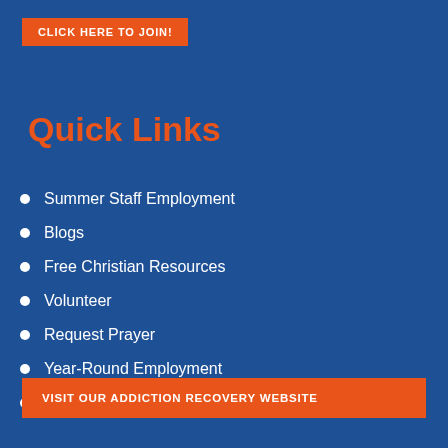CLICK HERE TO JOIN!
Quick Links
Summer Staff Employment
Blogs
Free Christian Resources
Volunteer
Request Prayer
Year-Round Employment
2022 Bible Reading Plan
VISIT OUR ADDICTION RECOVERY WEBSITE